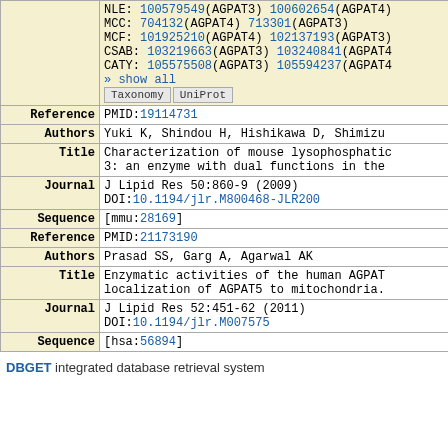| Label | Content |
| --- | --- |
|  | NLE: 100579549(AGPAT3) 100602654(AGPAT4)
MCC: 704132(AGPAT4) 713301(AGPAT3)
MCF: 101925210(AGPAT4) 102137193(AGPAT3)
CSAB: 103219663(AGPAT3) 103240841(AGPAT4)
CATY: 105575508(AGPAT3) 105594237(AGPAT4)
» show all
[Taxonomy] [UniProt] |
| Reference | PMID:19114731 |
| Authors | Yuki K, Shindou H, Hishikawa D, Shimizu |
| Title | Characterization of mouse lysophosphatic 3: an enzyme with dual functions in the |
| Journal | J Lipid Res 50:860-9 (2009)
DOI:10.1194/jlr.M800468-JLR200 |
| Sequence | [mmu:28169] |
| Reference | PMID:21173190 |
| Authors | Prasad SS, Garg A, Agarwal AK |
| Title | Enzymatic activities of the human AGPAT localization of AGPAT5 to mitochondria. |
| Journal | J Lipid Res 52:451-62 (2011)
DOI:10.1194/jlr.M007575 |
| Sequence | [hsa:56894] |
DBGET integrated database retrieval system